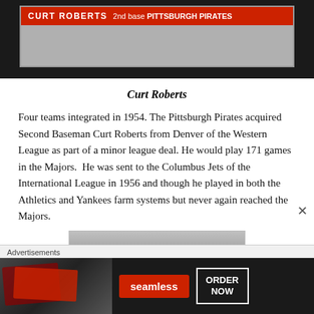[Figure (photo): Baseball trading card showing Curt Roberts, 2nd base, Pittsburgh Pirates. Red banner with white text at top, photo area below.]
Curt Roberts
Four teams integrated in 1954. The Pittsburgh Pirates acquired Second Baseman Curt Roberts from Denver of the Western League as part of a minor league deal. He would play 171 games in the Majors.  He was sent to the Columbus Jets of the International League in 1956 and though he played in both the Athletics and Yankees farm systems but never again reached the Majors.
[Figure (photo): Partial photo visible at bottom, black and white image, partially obscured by advertisement overlay.]
Advertisements
[Figure (other): Seamless food delivery advertisement banner showing pizza image on left, Seamless logo in red center, and ORDER NOW button on right.]